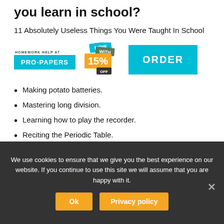you learn in school?
11 Absolutely Useless Things You Were Taught In School
[Figure (infographic): Advertisement banner for Pro-Papers homework help service showing 'HOMEWORK HELP AT PRO-PAPERS' button in teal, a discount badge showing 'NOW WITH 15% OFF', and an 'ORDER' button in teal.]
Making potato batteries.
Mastering long division.
Learning how to play the recorder.
Reciting the Periodic Table.
Drawing box and whisker plots.
Writing poetry.
Conducting dissections.
Finding metaphors in books. You know what
We use cookies to ensure that we give you the best experience on our website. If you continue to use this site we will assume that you are happy with it.